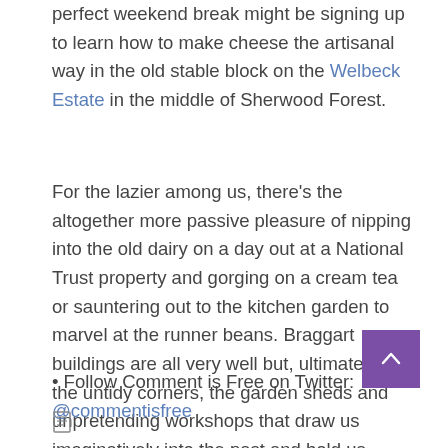perfect weekend break might be signing up to learn how to make cheese the artisanal way in the old stable block on the Welbeck Estate in the middle of Sherwood Forest.
For the lazier among us, there's the altogether more passive pleasure of nipping into the old dairy on a day out at a National Trust property and gorging on a cream tea or sauntering out to the kitchen garden to marvel at the runner beans. Braggart buildings are all very well but, ultimately, it is the untidy corners, the garden sheds and unpretending workshops that draw us imaginatively into the past and hold us there.
• Follow Comment is Free on Twitter:
@commentisfree